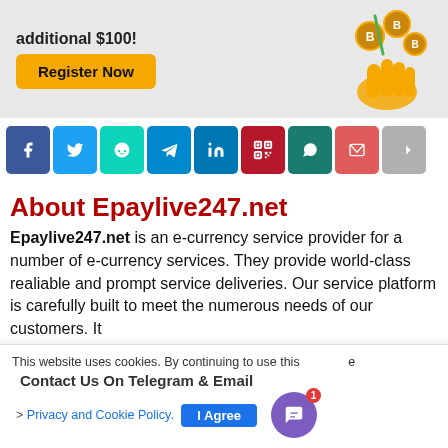[Figure (screenshot): Promotional banner with 'additional $100!' text, orange 'Register Now' button, and cryptocurrency coins illustration on grey background]
[Figure (infographic): Social sharing buttons row: Facebook (blue), Twitter (light blue), Reddit (teal), Telegram (blue), LinkedIn (blue), QR code (red), WhatsApp (dark teal), Email (salmon), Share (grey)]
About Epaylive247.net
Epaylive247.net is an e-currency service provider for a number of e-currency services. They provide world-class realiable and prompt service deliveries. Our service platform is carefully built to meet the numerous needs of our customers. It
This website uses cookies. By continuing to use this website you are giving consent to cookies being used. Visit our Privacy and Cookie Policy.
Contact Us On Telegram & Email